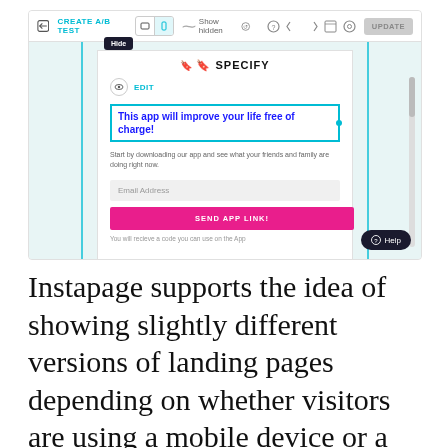[Figure (screenshot): Screenshot of Instapage editor interface showing toolbar with CREATE A/B TEST, Show hidden, UPDATE button, and a landing page preview with SPECIFY logo, headline 'This app will improve your life free of charge!', email input field, SEND APP LINK button, and a Help button overlay]
Instapage supports the idea of showing slightly different versions of landing pages depending on whether visitors are using a mobile device or a desktop computer. However, you can't make two completely different versions of a